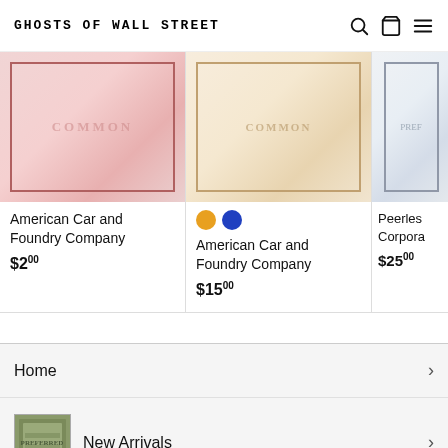GHOSTS OF WALL STREET
[Figure (photo): Product card showing American Car and Foundry Company stock certificate (red border), priced at $2.00]
American Car and Foundry Company
$2.00
[Figure (photo): Product card showing American Car and Foundry Company stock certificate (peach/tan), with gold and blue color variant dots, priced at $15.00]
American Car and Foundry Company
$15.00
[Figure (photo): Partial product card showing Peerless Corporation stock certificate, priced at $25.00]
Peerless Corpora...
$25.00
Home
New Arrivals